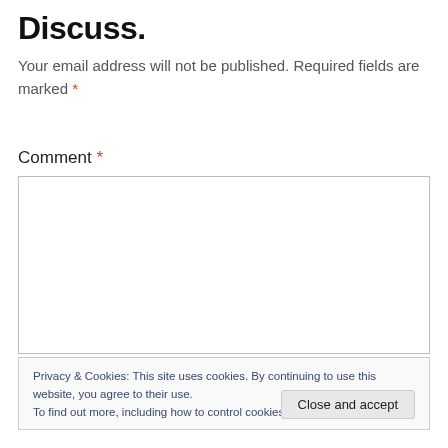Discuss.
Your email address will not be published. Required fields are marked *
Comment *
Privacy & Cookies: This site uses cookies. By continuing to use this website, you agree to their use.
To find out more, including how to control cookies, see here: Cookie Policy
Close and accept